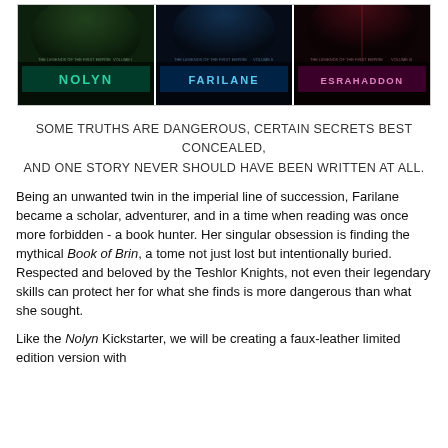[Figure (illustration): Three fantasy book covers side by side: Nolyn (green teal text on dark green background), Farilane (light blue text on dark blue background), Esrahaddon (pink text on dark red background). Each has atmospheric cover art above the title bar.]
SOME TRUTHS ARE DANGEROUS, CERTAIN SECRETS BEST CONCEALED, AND ONE STORY NEVER SHOULD HAVE BEEN WRITTEN AT ALL.
Being an unwanted twin in the imperial line of succession, Farilane became a scholar, adventurer, and in a time when reading was once more forbidden - a book hunter. Her singular obsession is finding the mythical Book of Brin, a tome not just lost but intentionally buried. Respected and beloved by the Teshlor Knights, not even their legendary skills can protect her for what she finds is more dangerous than what she sought.
Like the Nolyn Kickstarter, we will be creating a faux-leather limited edition version with